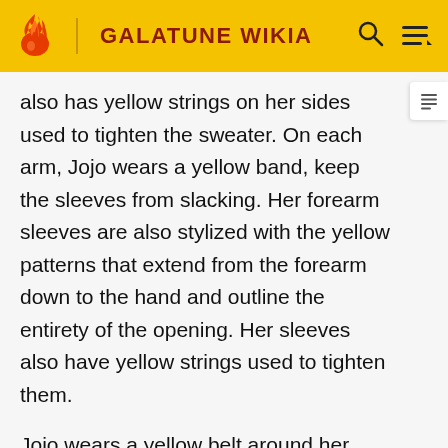GALATUNE WIKIA
also has yellow strings on her sides used to tighten the sweater. On each arm, Jojo wears a yellow band, keep the sleeves from slacking. Her forearm sleeves are also stylized with the yellow patterns that extend from the forearm down to the hand and outline the entirety of the opening. Her sleeves also have yellow strings used to tighten them.
Jojo wears a yellow belt around her sweater, keep it sharp and tight against her figure, maintaining her professional appearance. The yellow belt shares the same pattern as the rest of her yellow attire and contains a blue marble pin, holding the belt in place. Finally, Jojo wears a blue marble beaded necklace, and a strange